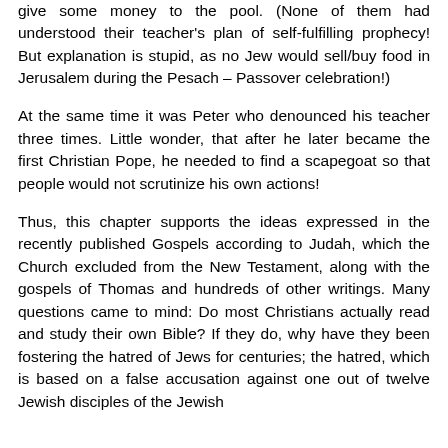give some money to the pool. (None of them had understood their teacher's plan of self-fulfilling prophecy! But explanation is stupid, as no Jew would sell/buy food in Jerusalem during the Pesach – Passover celebration!)
At the same time it was Peter who denounced his teacher three times. Little wonder, that after he later became the first Christian Pope, he needed to find a scapegoat so that people would not scrutinize his own actions!
Thus, this chapter supports the ideas expressed in the recently published Gospels according to Judah, which the Church excluded from the New Testament, along with the gospels of Thomas and hundreds of other writings. Many questions came to mind: Do most Christians actually read and study their own Bible? If they do, why have they been fostering the hatred of Jews for centuries; the hatred, which is based on a false accusation against one out of twelve Jewish disciples of the Jewish